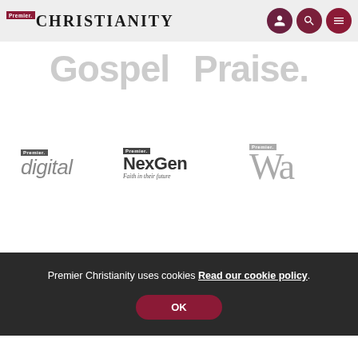Premier Christianity
[Figure (logo): Partially visible ghost text showing 'Gospel' and 'Praise.' in large light grey lettering]
[Figure (logo): Three Premier branded logos: Premier digital, Premier NexGen (Faith in their future), Premier Wa]
Premier Christianity uses cookies Read our cookie policy. OK